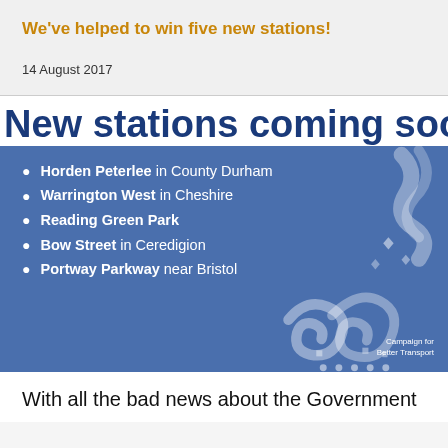We've helped to win five new stations!
14 August 2017
New stations coming soon
[Figure (infographic): Blue banner listing five new railway stations: Horden Peterlee in County Durham, Warrington West in Cheshire, Reading Green Park, Bow Street in Ceredigion, Portway Parkway near Bristol. Decorated with white ribbon/confetti graphics and Campaign for Better Transport logo.]
With all the bad news about the Government